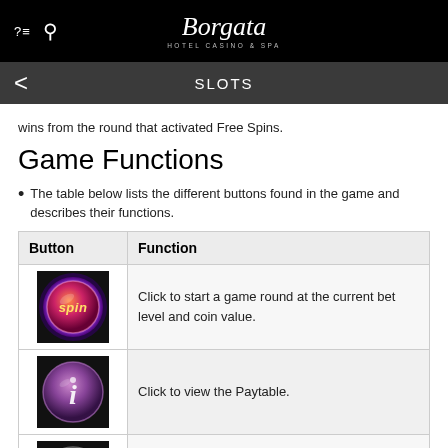Borgata Hotel Casino & Spa — SLOTS
wins from the round that activated Free Spins.
Game Functions
The table below lists the different buttons found in the game and describes their functions.
| Button | Function |
| --- | --- |
| [spin button image] | Click to start a game round at the current bet level and coin value. |
| [info button image] | Click to view the Paytable. |
| [settings button image] | Click to view the game settings menu and select game... |